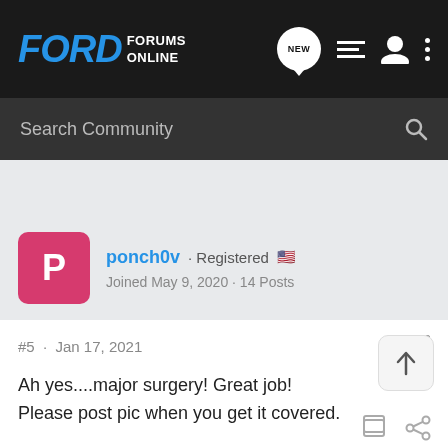Ford Forums Online
Search Community
ponch0v · Registered
Joined May 9, 2020 · 14 Posts
#5 · Jan 17, 2021
Ah yes....major surgery! Great job!
Please post pic when you get it covered.